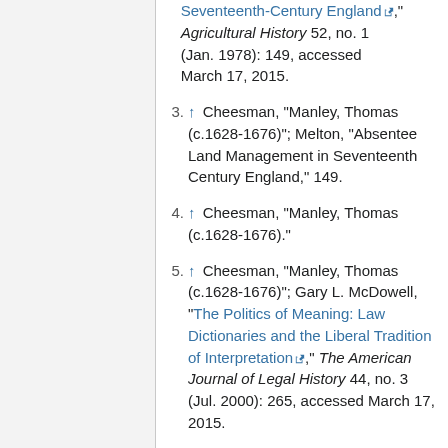Land Management in Seventeenth-Century England [ext], " Agricultural History 52, no. 1 (Jan. 1978): 149, accessed March 17, 2015.
3. ↑ Cheesman, "Manley, Thomas (c.1628-1676)"; Melton, "Absentee Land Management in Seventeenth Century England," 149.
4. ↑ Cheesman, "Manley, Thomas (c.1628-1676)."
5. ↑ Cheesman, "Manley, Thomas (c.1628-1676)"; Gary L. McDowell, "The Politics of Meaning: Law Dictionaries and the Liberal Tradition of Interpretation [ext]," The American Journal of Legal History 44, no. 3 (Jul. 2000): 265, accessed March 17, 2015.